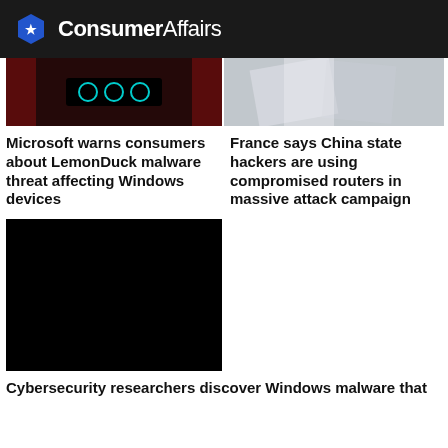ConsumerAffairs
[Figure (screenshot): Article thumbnail: dark server room with red lighting and cyan circular indicators]
Microsoft warns consumers about LemonDuck malware threat affecting Windows devices
[Figure (photo): Article thumbnail: light grey/white fabric or clothing with shadows]
France says China state hackers are using compromised routers in massive attack campaign
[Figure (photo): Solid black image, article thumbnail for cybersecurity article]
Cybersecurity researchers discover Windows malware that